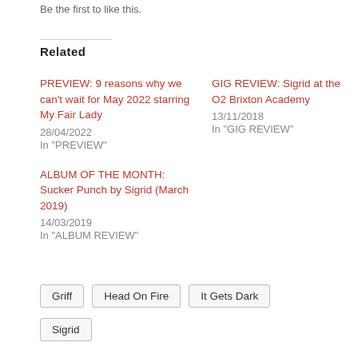Be the first to like this.
Related
PREVIEW: 9 reasons why we can't wait for May 2022 starring My Fair Lady
28/04/2022
In "PREVIEW"
GIG REVIEW: Sigrid at the O2 Brixton Academy
13/11/2018
In "GIG REVIEW"
ALBUM OF THE MONTH: Sucker Punch by Sigrid (March 2019)
14/03/2019
In "ALBUM REVIEW"
Griff
Head On Fire
It Gets Dark
Sigrid